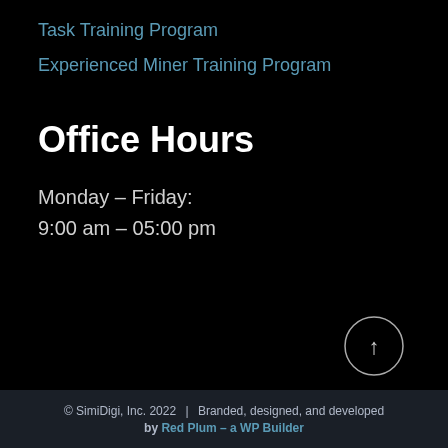Task Training Program
Experienced Miner Training Program
Office Hours
Monday – Friday:
9:00 am – 05:00 pm
[Figure (other): Circular scroll-to-top button with an upward arrow icon]
© SimiDigi, Inc. 2022 | Branded, designed, and developed by Red Plum – a WP Builder